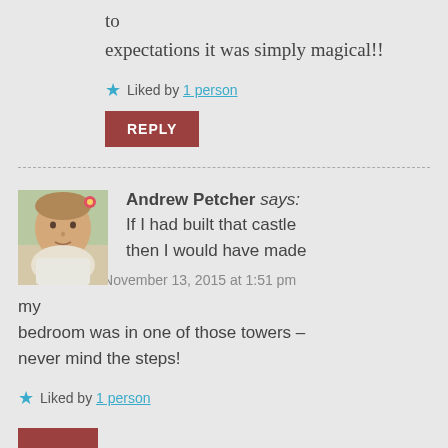to
expectations it was simply magical!!
Liked by 1 person
REPLY
Andrew Petcher says: If I had built that castle then I would have made sure that my bedroom was in one of those towers – never mind the steps!
November 13, 2015 at 1:51 pm
Liked by 1 person